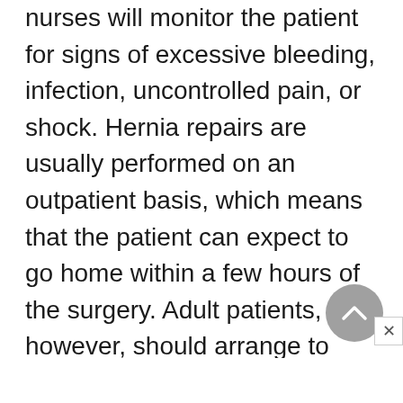nurses will monitor the patient for signs of excessive bleeding, infection, uncontrolled pain, or shock. Hernia repairs are usually performed on an outpatient basis, which means that the patient can expect to go home within a few hours of the surgery. Adult patients, however, should arrange to have a friend or relative drive them home. If possible, someone should stay with them for the first night.